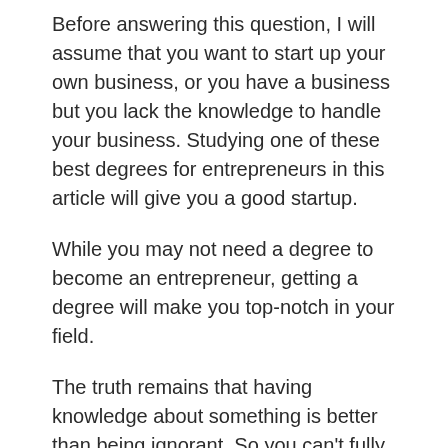Before answering this question, I will assume that you want to start up your own business, or you have a business but you lack the knowledge to handle your business. Studying one of these best degrees for entrepreneurs in this article will give you a good startup.
While you may not need a degree to become an entrepreneur, getting a degree will make you top-notch in your field.
The truth remains that having knowledge about something is better than being ignorant. So you can't fully say you don't need a degree to be an entrepreneur.